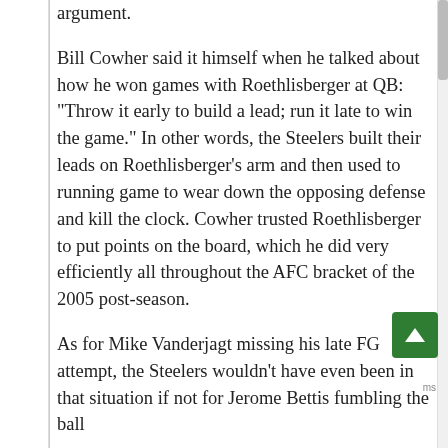argument.

Bill Cowher said it himself when he talked about how he won games with Roethlisberger at QB: "Throw it early to build a lead; run it late to win the game." In other words, the Steelers built their leads on Roethlisberger's arm and then used to running game to wear down the opposing defense and kill the clock. Cowher trusted Roethlisberger to put points on the board, which he did very efficiently all throughout the AFC bracket of the 2005 post-season.

As for Mike Vanderjagt missing his late FG attempt, the Steelers wouldn't have even been in that situation if not for Jerome Bettis fumbling the ball